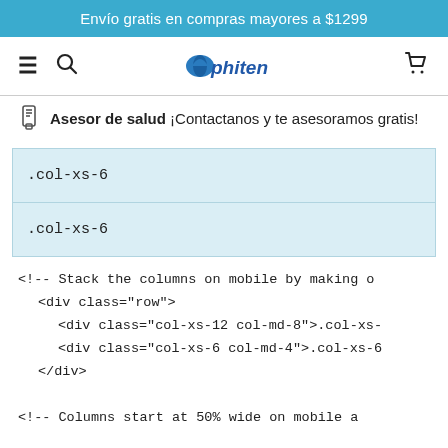Envío gratis en compras mayores a $1299
[Figure (logo): Phiten brand logo with navigation icons (hamburger menu, search, cart)]
Asesor de salud ¡Contactanos y te asesoramos gratis!
.col-xs-6
.col-xs-6
<!-- Stack the columns on mobile by making one full-width and the other half-width -->
    <div class="row">
      <div class="col-xs-12 col-md-8">.col-xs-
      <div class="col-xs-6 col-md-4">.col-xs-6
    </div>

<!-- Columns start at 50% wide on mobile a